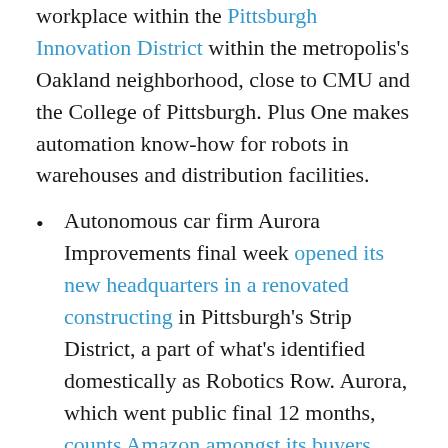workplace within the Pittsburgh Innovation District within the metropolis's Oakland neighborhood, close to CMU and the College of Pittsburgh. Plus One makes automation know-how for robots in warehouses and distribution facilities.
Autonomous car firm Aurora Improvements final week opened its new headquarters in a renovated constructing in Pittsburgh's Strip District, a part of what's identified domestically as Robotics Row. Aurora, which went public final 12 months, counts Amazon amongst its buyers.
Elsewhere on Robotics Row, Aurora additionally occupies the previous Uber Superior Applied sciences constructing after buying the ride-hailing firm's self-driving automobile unit in December 2020. A number of darkish grey Uber self-driving vehicles are nonetheless parked among the